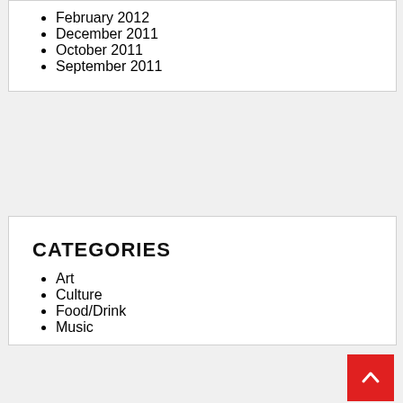February 2012
December 2011
October 2011
September 2011
CATEGORIES
Art
Culture
Food/Drink
Music